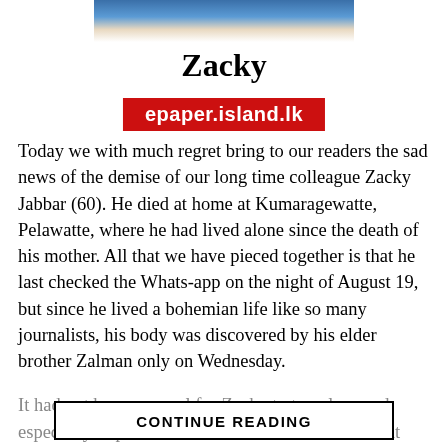[Figure (photo): Partial photo of a person at the top of the page]
Zacky
[Figure (other): Red watermark bar with text 'epaper.island.lk']
Today we with much regret bring to our readers the sad news of the demise of our long time colleague Zacky Jabbar (60). He died at home at Kumaragewatte, Pelawatte, where he had lived alone since the death of his mother. All that we have pieced together is that he last checked the Whats-app on the night of August 19, but since he lived a bohemian life like so many journalists, his body was discovered by his elder brother Zalman only on Wednesday.
It had not been unusual for Zacky to travel around, especially to places like the Maldives and be absent from office for days on end especially since he reached the retirement age of 55. But when he failed to turn up for some time we made discreet inquiries from his...
CONTINUE READING